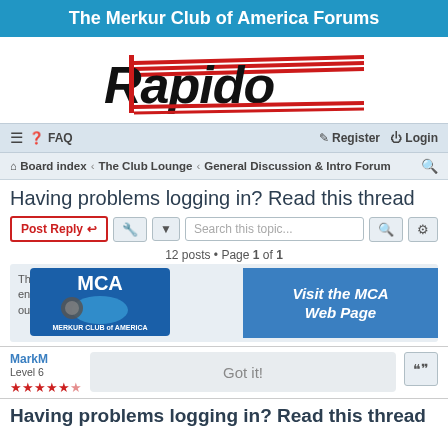The Merkur Club of America Forums
[Figure (logo): Rapido logo in bold italic black text with red racing stripes]
≡  FAQ    Register   Login
Board index  ‹  The Club Lounge  ‹  General Discussion & Intro Forum
Having problems logging in? Read this thread
Post Reply | tools | Search this topic...
12 posts • Page 1 of 1
[Figure (infographic): Cookie consent banner overlaid with MCA badge logo and Visit the MCA Web Page button]
MarkM
Level 6
★★★★★½
Got it!
Having problems logging in? Read this thread